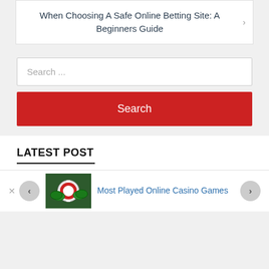When Choosing A Safe Online Betting Site: A Beginners Guide
Search ...
Search
LATEST POST
[Figure (photo): Casino chips and cards thumbnail image]
Most Played Online Casino Games